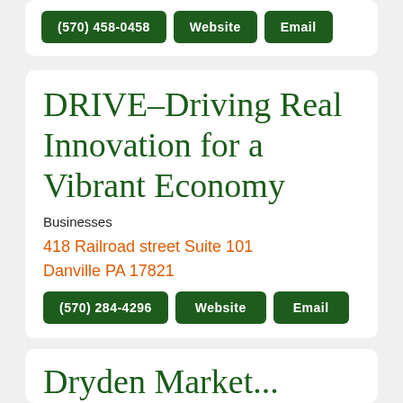(570) 458-0458 | Website | Email
DRIVE-Driving Real Innovation for a Vibrant Economy
Businesses
418 Railroad street Suite 101
Danville PA 17821
(570) 284-4296 | Website | Email
Dryden Market...